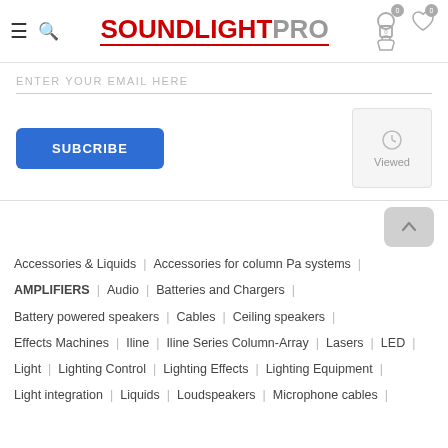SOUNDLIGHTPRO - header with hamburger menu, search, cart, and wishlist icons
ENTER YOUR EMAIL HERE
SUBCRIBE
Viewed
Accessories & Liquids | Accessories for column Pa systems |
AMPLIFIERS | Audio | Batteries and Chargers |
Battery powered speakers | Cables | Ceiling speakers |
Effects Machines | Iline | Iline Series Column-Array | Lasers | LED |
Light | Lighting Control | Lighting Effects | Lighting Equipment |
Light integration | Liquids | Loudspeakers | Microphone cables |